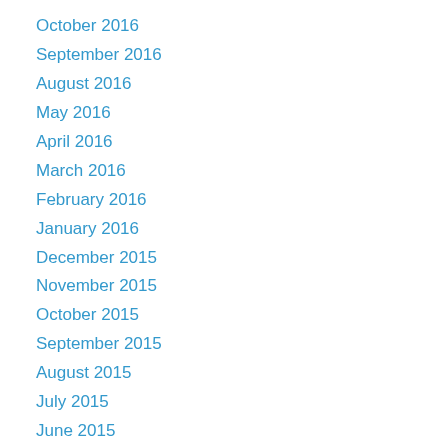October 2016
September 2016
August 2016
May 2016
April 2016
March 2016
February 2016
January 2016
December 2015
November 2015
October 2015
September 2015
August 2015
July 2015
June 2015
May 2015
June 2014
July 2013
June 2013
May 2013